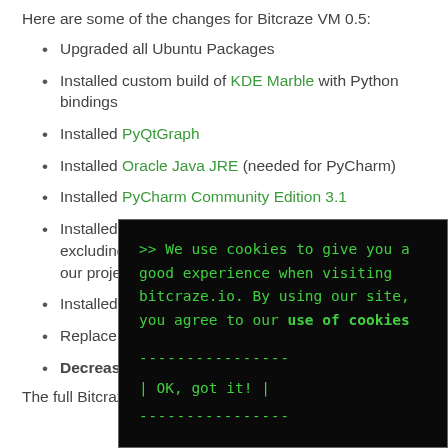Here are some of the changes for Bitcraze VM 0.5:
Upgraded all Ubuntu Packages
Installed custom build of KDE Marble with Python bindings
Installed PyQtGraph
Installed Oracle Java JRE (needed for PyCharm)
Installed PyCharm Community Edition 3.1
Installed KiCad from repo (using build script, but excluding documentation) to add support for all of our projec…
Installed E…
Replace old… repos and c…
Decreased… this new ve…
The full Bitcraze…
[Figure (screenshot): Terminal-style cookie consent popup with dark background and green monospace text reading: >> We use cookies to give you a good experience when visiting bitcraze.io. By using our site, you agree to our use of cookies, followed by a dashed line separator, a button '| OK, got it! |', and another dashed line separator.]